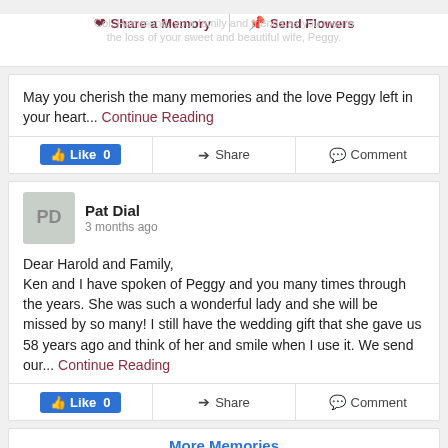Share a Memory | Send Flowers
May you cherish the many memories and the love Peggy left in your heart... Continue Reading
Like 0 | Share | Comment
Pat Dial
3 months ago
Dear Harold and Family,
Ken and I have spoken of Peggy and you many times through the years. She was such a wonderful lady and she will be missed by so many! I still have the wedding gift that she gave us 58 years ago and think of her and smile when I use it. We send our... Continue Reading
Like 0 | Share | Comment
More Memories